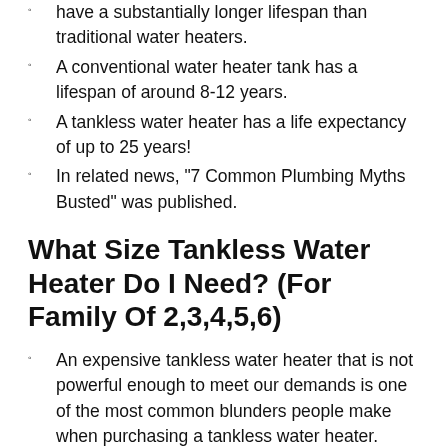have a substantially longer lifespan than traditional water heaters.
A conventional water heater tank has a lifespan of around 8-12 years.
A tankless water heater has a life expectancy of up to 25 years!
In related news, "7 Common Plumbing Myths Busted" was published.
What Size Tankless Water Heater Do I Need? (For Family Of 2,3,4,5,6)
An expensive tankless water heater that is not powerful enough to meet our demands is one of the most common blunders people make when purchasing a tankless water heater.
Tankless heaters should not be purchased